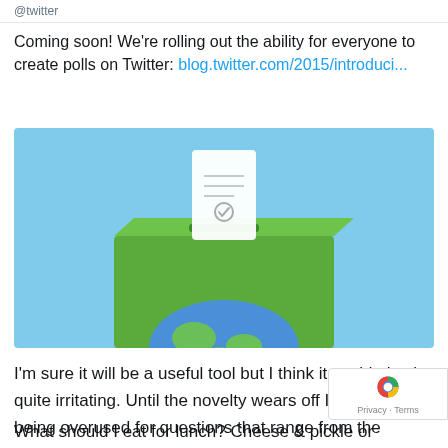@twitter
Coming soon! We're rolling out the ability for everyone to create polls on Twitter: blog.twitter.com/2015/introduci...
[Figure (illustration): Illustration of a ballot being inserted into a green ballot box, with a globe visible at the base, on a light blue background]
I'm sure it will be a useful tool but I think it could also be quite irritating.  Until the novelty wears off I can see it being overused for questions that range from the sublime to the ridiculous...
What should I eat for lunch? Cheese & pickle or